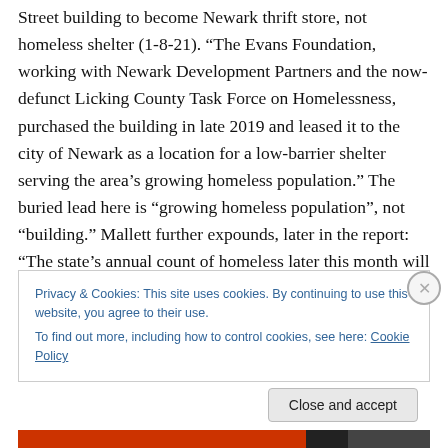Street building to become Newark thrift store, not homeless shelter (1-8-21). “The Evans Foundation, working with Newark Development Partners and the now-defunct Licking County Task Force on Homelessness, purchased the building in late 2019 and leased it to the city of Newark as a location for a low-barrier shelter serving the area’s growing homeless population.” The buried lead here is “growing homeless population”, not “building.” Mallett further expounds, later in the report: “The state’s annual count of homeless later this month will provide more data, but Tegtmeyer [Deb Tegtmeyer,
Privacy & Cookies: This site uses cookies. By continuing to use this website, you agree to their use.
To find out more, including how to control cookies, see here: Cookie Policy
Close and accept